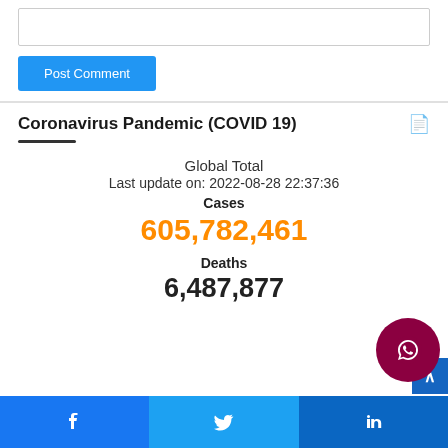Post Comment
Coronavirus Pandemic (COVID 19)
Global Total
Last update on: 2022-08-28 22:37:36
Cases
605,782,461
Deaths
6,487,877
Facebook Twitter LinkedIn